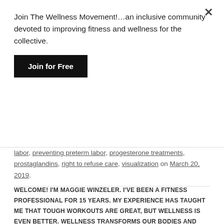Join The Wellness Movement!…an inclusive community devoted to improving fitness and wellness for the collective.
Join for Free
labor, preventing preterm labor, progesterone treatments, prostaglandins, right to refuse care, visualization on March 20, 2019.
WELCOME! I'M MAGGIE WINZELER. I'VE BEEN A FITNESS PROFESSIONAL FOR 15 YEARS. MY EXPERIENCE HAS TAUGHT ME THAT TOUGH WORKOUTS ARE GREAT, BUT WELLNESS IS EVEN BETTER. WELLNESS TRANSFORMS OUR BODIES AND HEARTS.
[Figure (photo): Partial circular photo at bottom of page, light/white tones]